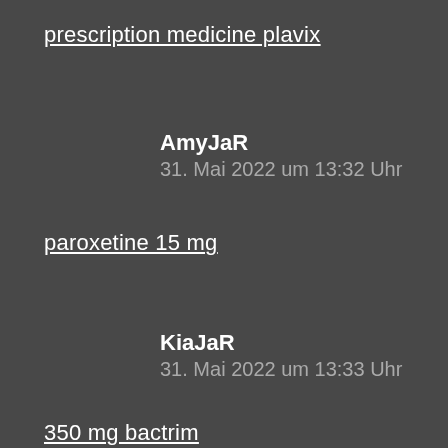prescription medicine plavix
AmyJaR
31. Mai 2022 um 13:32 Uhr
paroxetine 15 mg
KiaJaR
31. Mai 2022 um 13:33 Uhr
350 mg bactrim
WimJaR
31. Mai 2022 um 21:51 Uhr